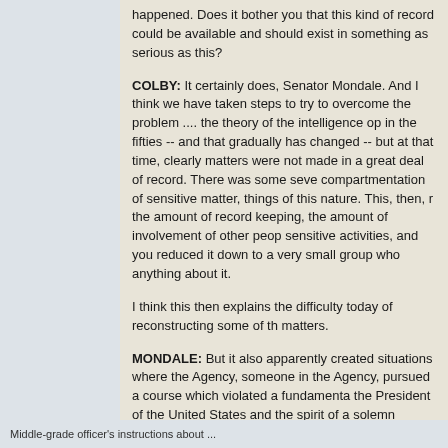happened. Does it bother you that this kind of record could be available and should exist in something as serious as this?
COLBY: It certainly does, Senator Mondale. And I think we have taken steps to try to overcome the problem .... the theory of the intelligence op in the fifties -- and that gradually has changed -- but at that time, clearly matters were not made in a great deal of record. There was some seve compartmentation of sensitive matter, things of this nature. This, then, r the amount of record keeping, the amount of involvement of other peop sensitive activities, and you reduced it down to a very small group who anything about it.
I think this then explains the difficulty today of reconstructing some of th matters.
MONDALE: But it also apparently created situations where the Agency, someone in the Agency, pursued a course which violated a fundamenta the President of the United States and the spirit of a solemn internation convention against biological and toxic warfare.
COLBY: There is no question about it that a middle-grade officer made decision that was wrong.
Middle-grade officer's instructions about ...